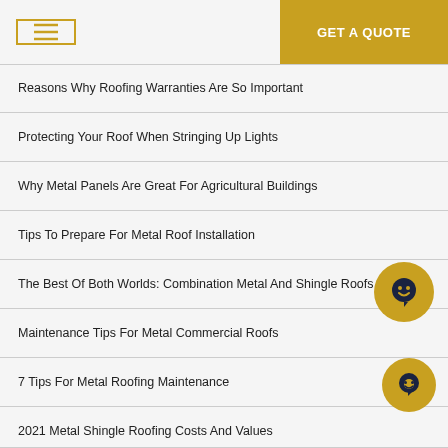GET A QUOTE
Reasons Why Roofing Warranties Are So Important
Protecting Your Roof When Stringing Up Lights
Why Metal Panels Are Great For Agricultural Buildings
Tips To Prepare For Metal Roof Installation
The Best Of Both Worlds: Combination Metal And Shingle Roofs
Maintenance Tips For Metal Commercial Roofs
7 Tips For Metal Roofing Maintenance
2021 Metal Shingle Roofing Costs And Values